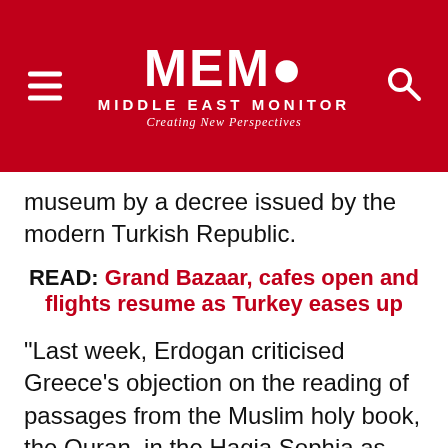MEMO MIDDLE EAST MONITOR Creating New Perspectives
museum by a decree issued by the modern Turkish Republic.
READ: Grand Bazaar, cafes open and flights resume as Turkey eases up
"Last week, Erdogan criticised Greece's objection on the reading of passages from the Muslim holy book, the Quran, in the Hagia Sophia as part of celebrations to commemorate the day of the conquest of Istanbul."Not a single mosque of ours still stands in Athens. They were all razed to the ground. But we did not resort to such ways in